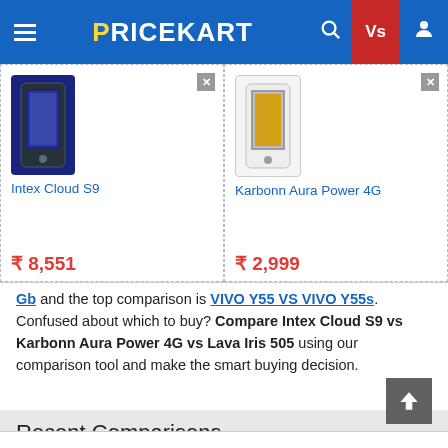PRICEKART
[Figure (screenshot): Product comparison cards: Intex Cloud S9 at ₹8,551 and Karbonn Aura Power 4G at ₹2,999]
Gb and the top comparison is VIVO Y55 VS VIVO Y55s. Confused about which to buy? Compare Intex Cloud S9 vs Karbonn Aura Power 4G vs Lava Iris 505 using our comparison tool and make the smart buying decision.
₹ 8,551 NA
₹ 2,999 on Flipkart.com
Recent Comparisons